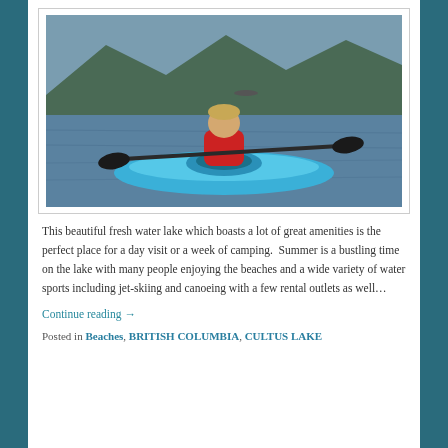[Figure (photo): A child in a red life jacket paddling a blue kayak on a lake, with mountains and trees in the background and another boat visible in the distance.]
This beautiful fresh water lake which boasts a lot of great amenities is the perfect place for a day visit or a week of camping.  Summer is a bustling time on the lake with many people enjoying the beaches and a wide variety of water sports including jet-skiing and canoeing with a few rental outlets as well…
Continue reading →
Posted in Beaches, BRITISH COLUMBIA, CULTUS LAKE